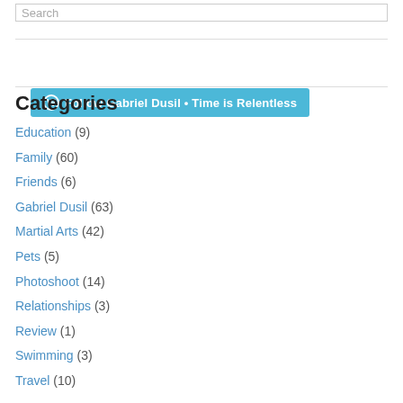Search
[Figure (other): Follow Gabriel Dusil • Time is Relentless button with WordPress icon]
Categories
Education (9)
Family (60)
Friends (6)
Gabriel Dusil (63)
Martial Arts (42)
Pets (5)
Photoshoot (14)
Relationships (3)
Review (1)
Swimming (3)
Travel (10)